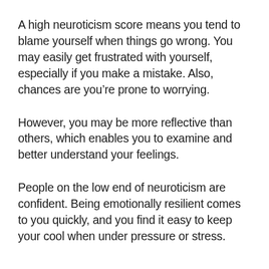A high neuroticism score means you tend to blame yourself when things go wrong. You may easily get frustrated with yourself, especially if you make a mistake. Also, chances are you’re prone to worrying.
However, you may be more reflective than others, which enables you to examine and better understand your feelings.
People on the low end of neuroticism are confident. Being emotionally resilient comes to you quickly, and you find it easy to keep your cool when under pressure or stress.